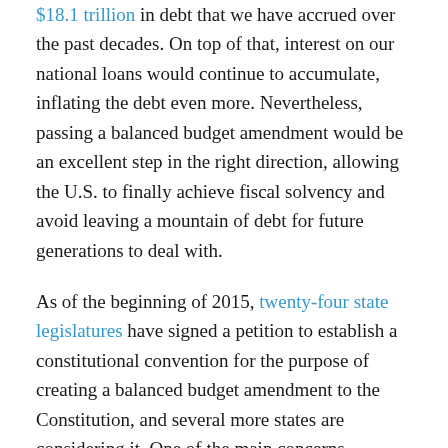$18.1 trillion in debt that we have accrued over the past decades. On top of that, interest on our national loans would continue to accumulate, inflating the debt even more. Nevertheless, passing a balanced budget amendment would be an excellent step in the right direction, allowing the U.S. to finally achieve fiscal solvency and avoid leaving a mountain of debt for future generations to deal with.
As of the beginning of 2015, twenty-four state legislatures have signed a petition to establish a constitutional convention for the purpose of creating a balanced budget amendment to the Constitution, and several more states are considering it. One of the main concerns preventing many states from supporting this convention is that it might not constrain itself to only passing a balanced budget amendment but might instead attempt to make